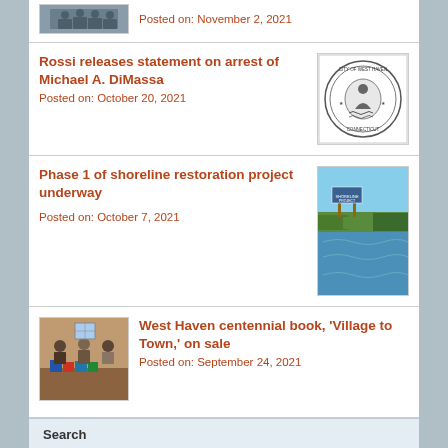Posted on: November 2, 2021
Rossi releases statement on arrest of Michael A. DiMassa
Posted on: October 20, 2021
[Figure (photo): City seal / official emblem of West Haven]
Phase 1 of shoreline restoration project underway
Posted on: October 7, 2021
[Figure (photo): Shoreline restoration project photo with sign and water]
[Figure (photo): People around a table with books]
West Haven centennial book, ‘Village to Town,’ on sale
Posted on: September 24, 2021
[Figure (photo): People at Washington School bond funding event]
$24M in bond funding heralded for new Washington School
Posted on: June 15, 2021
Search